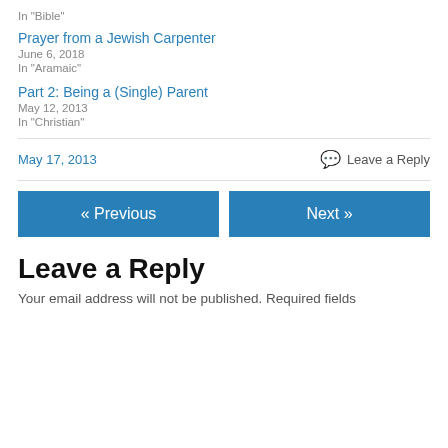In "Bible"
Prayer from a Jewish Carpenter
June 6, 2018
In "Aramaic"
Part 2: Being a (Single) Parent
May 12, 2013
In "Christian"
May 17, 2013
Leave a Reply
« Previous
Next »
Leave a Reply
Your email address will not be published. Required fields